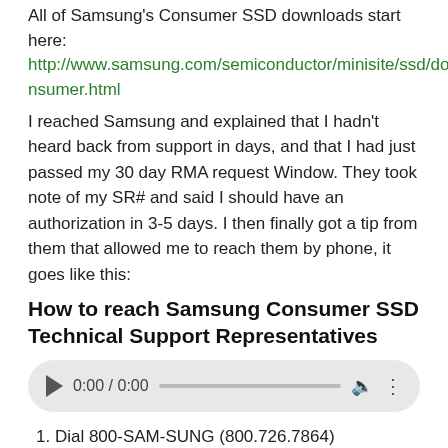All of Samsung's Consumer SSD downloads start here:
http://www.samsung.com/semiconductor/minisite/ssd/download/consumer.html
I reached Samsung and explained that I hadn't heard back from support in days, and that I had just passed my 30 day RMA request Window. They took note of my SR# and said I should have an authorization in 3-5 days. I then finally got a tip from them that allowed me to reach them by phone, it goes like this:
How to reach Samsung Consumer SSD Technical Support Representatives
[Figure (other): Audio player widget showing 0:00 / 0:00 with play button, progress bar, volume and more options icons]
1. Dial 800-SAM-SUNG (800.726.7864)
2. wait for automated attendant to stop talking
3. say "Solid State Drive"
4. wait for automated attendant to stop talking
5. say "Representative"
6. wait for automated attendant to stop talking